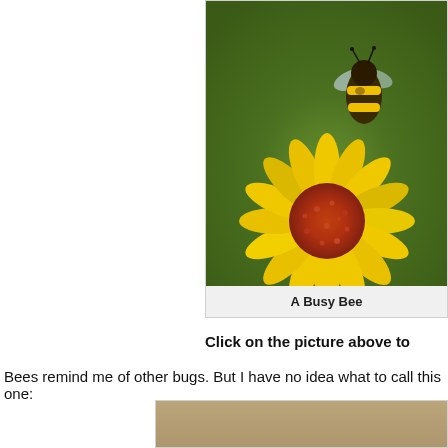[Figure (photo): A bumblebee on a bright yellow sunflower with an orange-red center, set against a blurred green background. The bee is positioned at the top right of the flower center.]
A Busy Bee
Click on the picture above to
Bees remind me of other bugs. But I have no idea what to call this one:
[Figure (photo): Partial view of another insect photo, showing a blurred tan/brown background, cut off at the bottom of the page.]